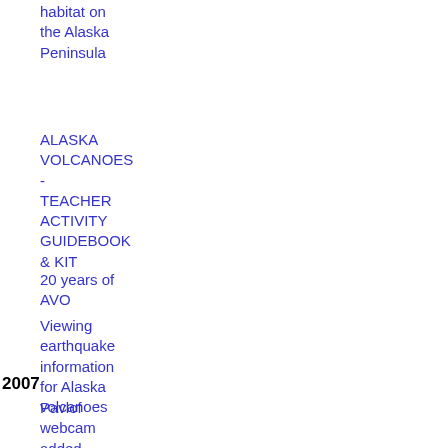habitat on the Alaska Peninsula
ALASKA VOLCANOES - TEACHER ACTIVITY GUIDEBOOK & KIT
20 years of AVO
Viewing earthquake information for Alaska volcanoes
2007
Pavlof webcam added